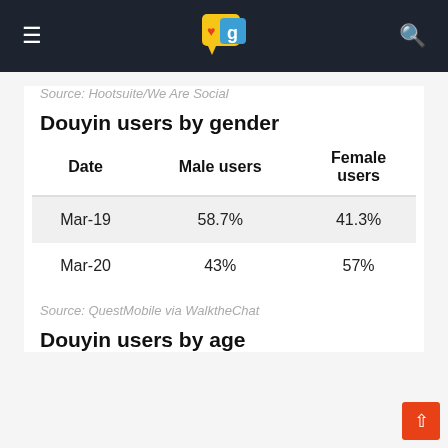GlobalWebIndex — navigation bar with logo, hamburger menu, and search icon
Source: Hootsuite/We Are Social
Douyin users by gender
| Date | Male users | Female users |
| --- | --- | --- |
| Mar-19 | 58.7% | 41.3% |
| Mar-20 | 43% | 57% |
Source: QuestMobile via WalktheChat
Douyin users by age